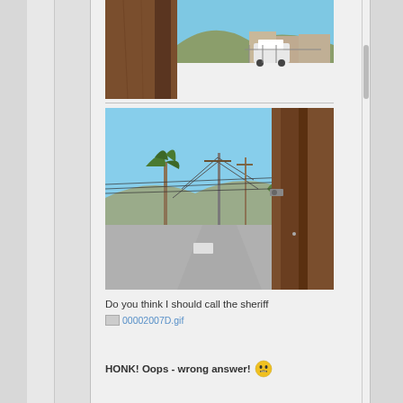[Figure (photo): Close-up of a wooden utility pole with a street scene background including a white vehicle and buildings under a blue sky]
[Figure (photo): Street view with wooden utility pole close-up on the right, palm trees, power lines, and a road stretching into the distance under a blue sky]
Do you think I should call the sheriff
00002007D.gif
HONK! Oops - wrong answer! 😬